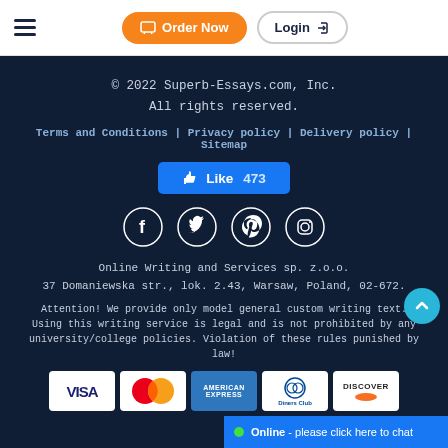Order Now | Login
© 2022 Superb-Essays.com, Inc.
All rights reserved.
Terms and Conditions | Privacy policy | Delivery policy | Sitemap
[Figure (other): Facebook Like button with count 473]
[Figure (other): Social media icons: Facebook, Twitter, Pinterest, Instagram]
Online Writing and Services sp. z.o.o.
37 Domaniewska str., lok. 2.43, Warsaw, Poland, 02-672.
Attention! We provide only model general custom writing text. Using this writing service is legal and is not prohibited by any university/college policies. Violation of these rules punished by law!
[Figure (other): Payment card logos: VISA, MasterCard, American Express, Diners Club, Discover Network]
Online - please click here to chat